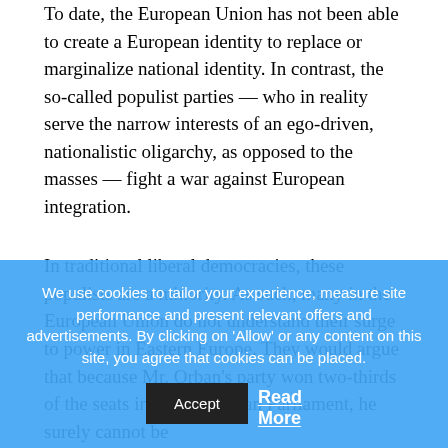To date, the European Union has not been able to create a European identity to replace or marginalize national identity. In contrast, the so-called populist parties — who in reality serve the narrow interests of an ego-driven, nationalistic oligarchy, as opposed to the masses — fight a war against European integration.
In traditional liberal democracies, these populists are a minority. As such, many in the European Union do not understand their surge to power in Eastern Europe. They would argue that because Mr. Orban's party won two-thirds of the seats in the Hungarian Parliament, he surely cannot be
We use cookies to tailor your experience, measure site performance and present relevant offers and advertisements. By clicking on 'Allow' or any content on this site, you agree that cookies can be placed.